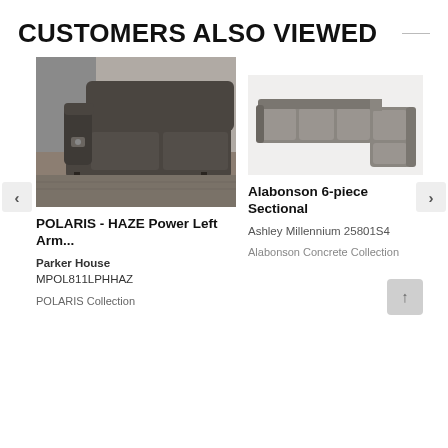CUSTOMERS ALSO VIEWED
[Figure (photo): Dark gray leather power recliner loveseat, angled view showing left arm, plush cushions, and reclining mechanism. Set on a gray rug.]
POLARIS - HAZE Power Left Arm...
Parker House
MPOL811LPHHAZ
POLARIS Collection
[Figure (photo): Top-angled view of a 6-piece gray/concrete fabric sectional sofa in an L-shape configuration.]
Alabonson 6-piece Sectional
Ashley Millennium 25801S4
Alabonson Concrete Collection